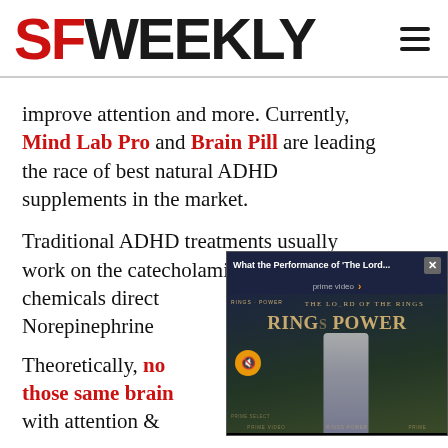SF WEEKLY
improve attention and more. Currently, Mind Lab Pro and Brain Pill are leading the race of best natural ADHD supplements in the market.
Traditional ADHD treatments usually work on the catecholamine brain chemicals direct... Norepinephrine
[Figure (screenshot): Amazon Prime Video ad overlay showing 'The Lord of the Rings: The Rings of Power' with title bar reading 'What the Performance of The Lord...' and a close button, prime video branding, and a woman in silver dress at a premiere event]
Theoretically, no... those same brain... with attention &